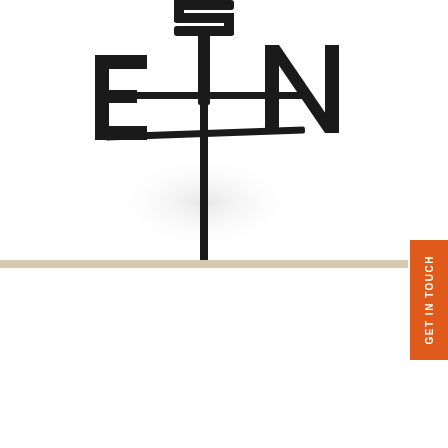[Figure (photo): Close-up black metal weather vane directional cross with letters E and N visible, on a pole, photographed from above against white background]
[Figure (photo): Black cast metal horse weather vane with arrow pointer on a mounting pole, partial S and E compass letters visible at bottom, white background]
GET IN TOUCH